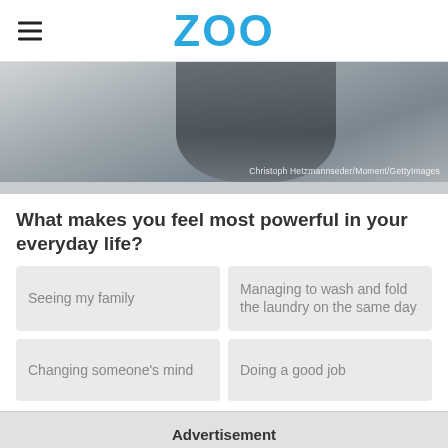ZOO
[Figure (photo): Grayscale photo of a person's back/shoulder, partially visible. Photo credit: Christoph Hetzmannseder/Moment/GettyImages]
What makes you feel most powerful in your everyday life?
Seeing my family
Managing to wash and fold the laundry on the same day
Changing someone's mind
Doing a good job
Advertisement